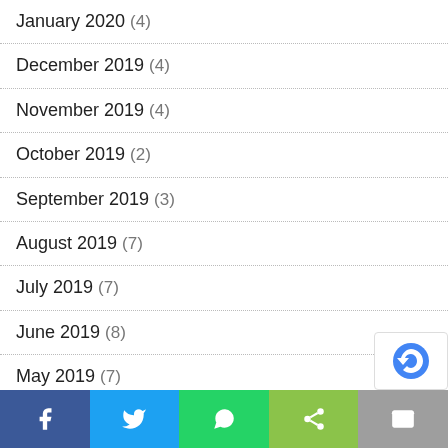January 2020 (4)
December 2019 (4)
November 2019 (4)
October 2019 (2)
September 2019 (3)
August 2019 (7)
July 2019 (7)
June 2019 (8)
May 2019 (7)
April 2019 (8)
March 2019 (10)